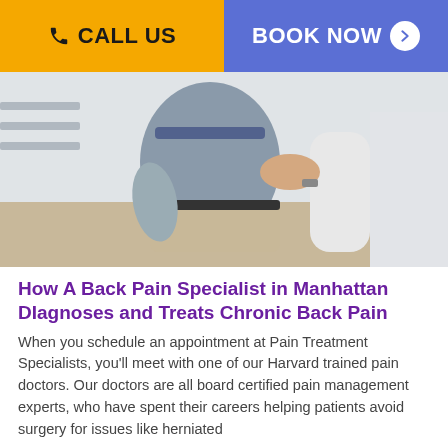CALL US | BOOK NOW
[Figure (photo): A doctor in a white coat examining a male patient's lower back. The patient is seated and wearing a grey shirt, with his back to the camera. The doctor's hands are placed on the patient's lower back area in a clinical setting.]
How A Back Pain Specialist in Manhattan DIagnoses and Treats Chronic Back Pain
When you schedule an appointment at Pain Treatment Specialists, you'll meet with one of our Harvard trained pain doctors. Our doctors are all board certified pain management experts, who have spent their careers helping patients avoid surgery for issues like herniated